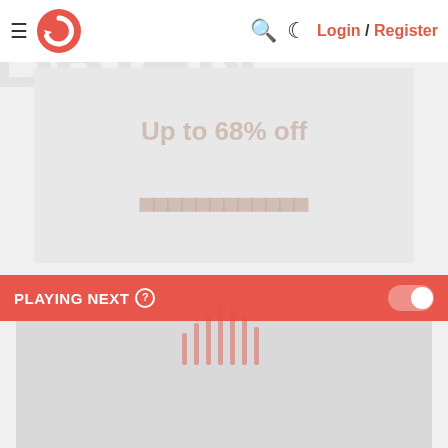Login / Register
[Figure (screenshot): Advertisement banner showing 'Up to 68% off' faded text on light grey background]
Advertisement
PLAYING NEXT
[Figure (screenshot): Video thumbnail with 1507 views and 9:33 duration]
Senator Cotton: $40 Billion to Ukraine or China Will Attack Taiwan